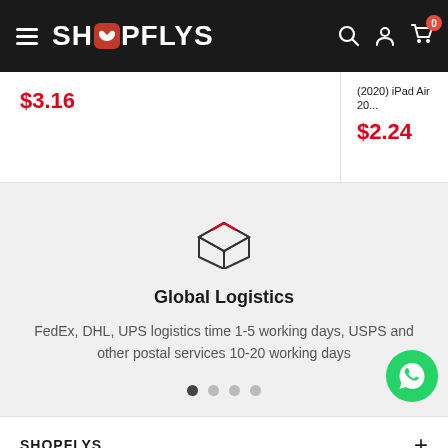[Figure (screenshot): SHOPFLYS e-commerce website header with hamburger menu, logo, search, account and cart icons]
$3.16
(2020) iPad Air 20... $2.24
[Figure (illustration): Box/package icon representing global logistics]
Global Logistics
FedEx, DHL, UPS logistics time 1-5 working days, USPS and other postal services 10-20 working days
[Figure (illustration): WhatsApp contact button (green circle with phone icon)]
SHOPFLYS +